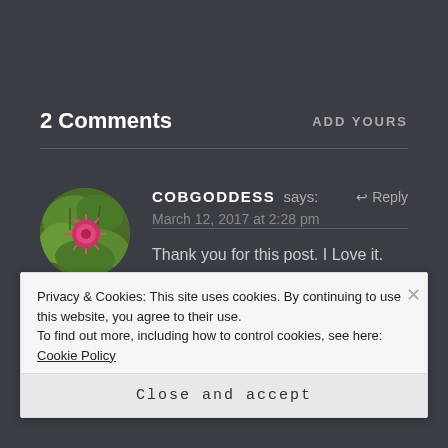2 Comments
ADD YOURS
[Figure (photo): Circular avatar photo of a pink flower (burdock/thistle) with green leaves background]
COBGODDESS says:
↩ Reply
March 12, 2017 at 2:28 pm
Thank you for this post. I Love it.
Privacy & Cookies: This site uses cookies. By continuing to use this website, you agree to their use.
To find out more, including how to control cookies, see here: Cookie Policy
Close and accept